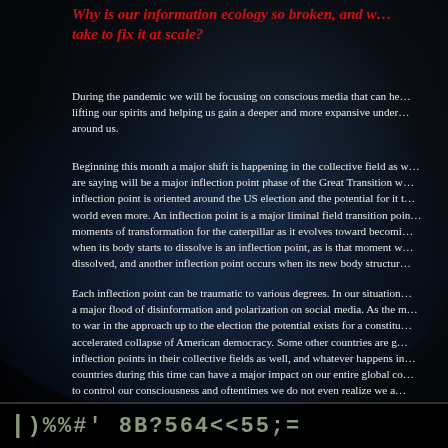Why is our information ecology so broken, and what will it take to fix it at scale?
During the pandemic we will be focusing on conscious media that can help us by lifting our spirits and helping us gain a deeper and more expansive understanding of the world around us.
Beginning this month a major shift is happening in the collective field as what many are saying will be a major inflection point phase of the Great Transition where this inflection point is oriented around the US election and the potential for it to polarize the world even more. An inflection point is a major liminal field transition point — like the moments of transformation for the caterpillar as it evolves toward becoming a butterfly — when its body starts to dissolve is an inflection point, as is that moment when it is fully dissolved, and another inflection point occurs when its new body structure...
Each inflection point can be traumatic to various degrees. In our situation we have a major flood of disinformation and polarization on social media. As the momentum goes to war in the approach up to the election the potential exists for a constitutional crisis or accelerated collapse of American democracy. Some other countries are going through inflection points in their collective fields as well, and whatever happens in those major countries during this time can have a major impact on our entire global consciousness to control our consciousness and oftentimes we do not even realize we a...
|)%%#' 8B?564<<55;=